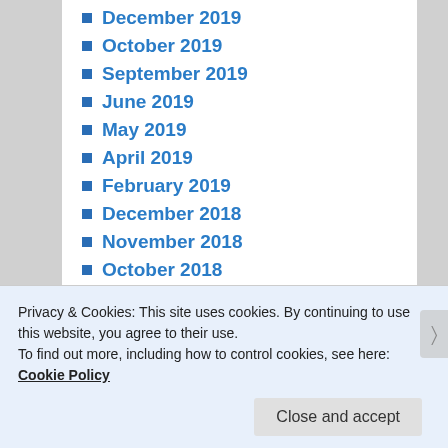December 2019
October 2019
September 2019
June 2019
May 2019
April 2019
February 2019
December 2018
November 2018
October 2018
September 2018
August 2018
April 2018
March 2018
Privacy & Cookies: This site uses cookies. By continuing to use this website, you agree to their use.
To find out more, including how to control cookies, see here: Cookie Policy